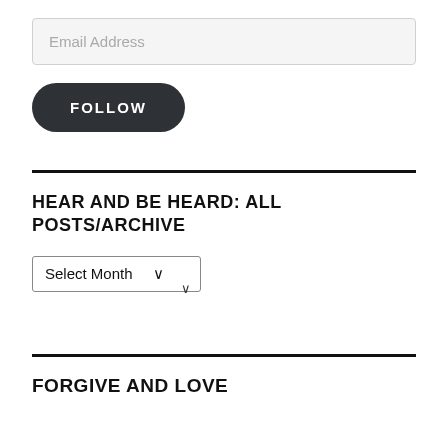Email Address
FOLLOW
HEAR AND BE HEARD: ALL POSTS/ARCHIVE
Select Month
FORGIVE AND LOVE